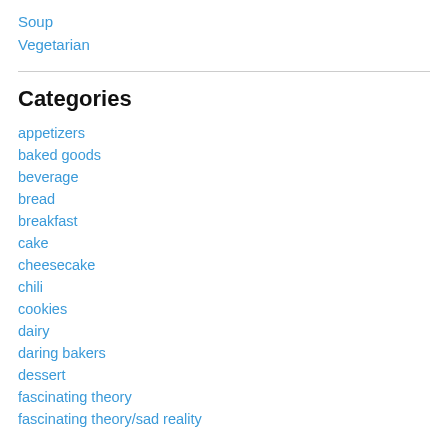Soup
Vegetarian
Categories
appetizers
baked goods
beverage
bread
breakfast
cake
cheesecake
chili
cookies
dairy
daring bakers
dessert
fascinating theory
fascinating theory/sad reality